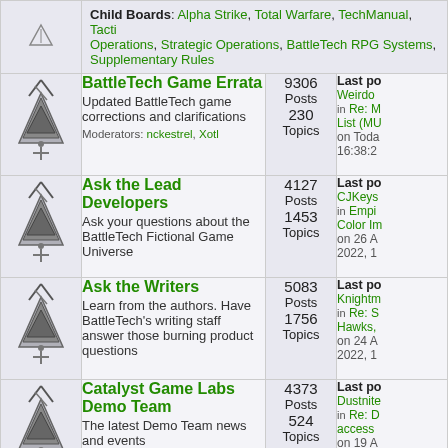| Icon | Forum | Stats | Last Post |
| --- | --- | --- | --- |
| [icon] | Child Boards: Alpha Strike, Total Warfare, TechManual, Tacti... Operations, Strategic Operations, BattleTech RPG Systems, Supplementary Rules |  |  |
| [icon] | BattleTech Game Errata
Updated BattleTech game corrections and clarifications
Moderators: nckestrel, Xotl | 9306 Posts
230 Topics | Last po...
Weirdo
in Re: M... List (MU...
on Toda...
16:38:2... |
| [icon] | Ask the Lead Developers
Ask your questions about the BattleTech Fictional Game Universe | 4127 Posts
1453 Topics | Last po...
CJKeys...
in Empi... Color Im...
on 26 A... 2022, 1... |
| [icon] | Ask the Writers
Learn from the authors. Have BattleTech's writing staff answer those burning product questions | 5083 Posts
1756 Topics | Last po...
Knightm...
in Re: S... Hawks...
on 24 A... 2022, 1... |
| [icon] | Catalyst Game Labs Demo Team
The latest Demo Team news and events | 4373 Posts
524 Topics | Last po...
Dustnite...
in Re: D... access...
on 19 A... |